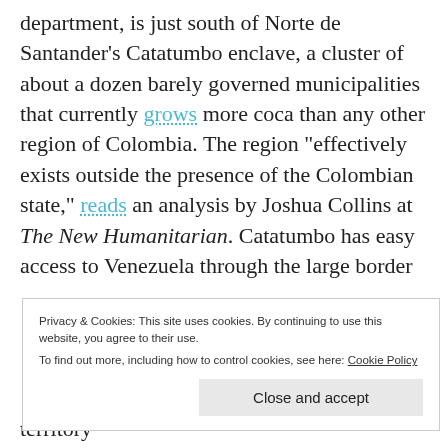department, is just south of Norte de Santander’s Catatumbo enclave, a cluster of about a dozen barely governed municipalities that currently grows more coca than any other region of Colombia. The region “effectively exists outside the presence of the Colombian state,” reads an analysis by Joshua Collins at The New Humanitarian. Catatumbo has easy access to Venezuela through the large border
Privacy & Cookies: This site uses cookies. By continuing to use this website, you agree to their use. To find out more, including how to control cookies, see here: Cookie Policy
territory